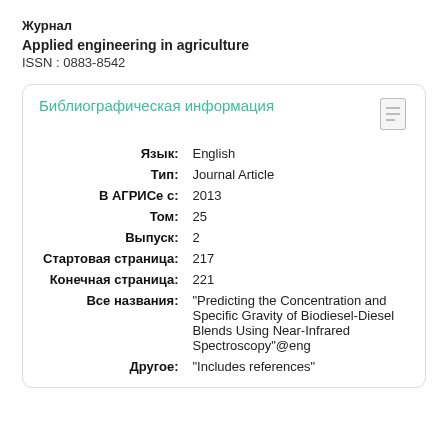Журнал
Applied engineering in agriculture
ISSN : 0883-8542
Библиографическая информация
| Key | Value |
| --- | --- |
| Язык: | English |
| Тип: | Journal Article |
| В АГРИСе с: | 2013 |
| Том: | 25 |
| Выпуск: | 2 |
| Стартовая страница: | 217 |
| Конечная страница: | 221 |
| Все названия: | "Predicting the Concentration and Specific Gravity of Biodiesel-Diesel Blends Using Near-Infrared Spectroscopy"@eng |
| Другое: | "Includes references" |